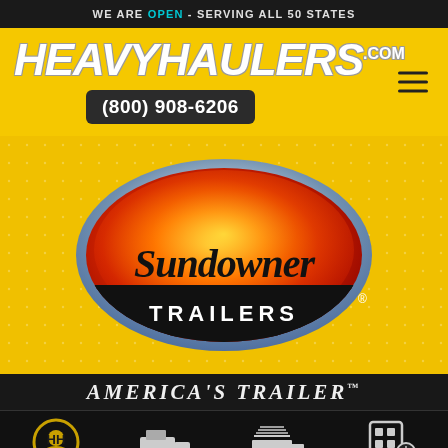WE ARE OPEN - SERVING ALL 50 STATES
[Figure (logo): HeavyHaulers.com logo on yellow background with phone number (800) 908-6206 and hamburger menu]
[Figure (logo): Sundowner Trailers oval logo with flame background on yellow section with dot grid pattern]
AMERICA'S TRAILER™
Meet Team
Pictures
Services
Get Quote